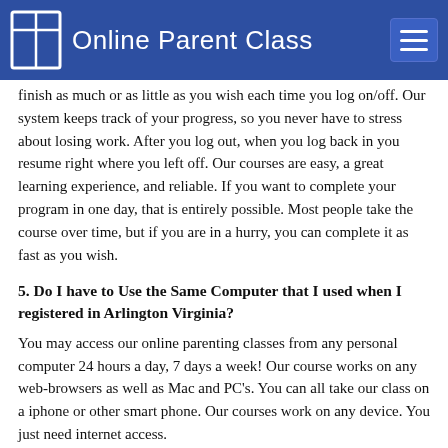Online Parent Class
finish as much or as little as you wish each time you log on/off.  Our system keeps track of your progress, so you never have to stress about losing work.  After you log out, when you log back in you resume right where you left off. Our courses are easy, a great learning experience, and reliable.  If you want to complete your program in one day, that is entirely possible.  Most people take the course over time, but if you are in a hurry, you can complete it as fast as you wish.
5. Do I have to Use the Same Computer that I used when I registered in Arlington Virginia?
You may access our online parenting classes from any personal computer 24 hours a day, 7 days a week!  Our course works on any web-browsers as well as Mac and PC's.  You can all take our class on a iphone or other smart phone.  Our courses work on any device.  You just need internet access.
6. Do I have to Pass an Exam in Order to Pass the Class and Receive my Certificate?